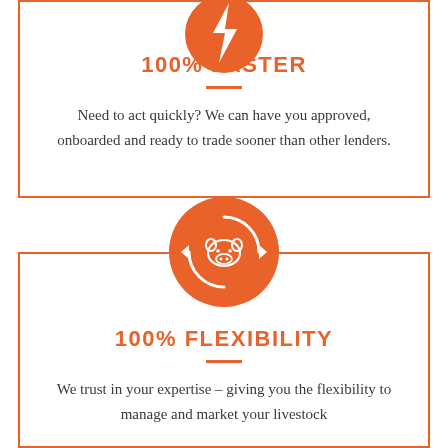[Figure (illustration): Orange circle icon partially visible at top, containing a lightning bolt or speed-related symbol in white]
100% FASTER
Need to act quickly? We can have you approved, onboarded and ready to trade sooner than other lenders.
[Figure (illustration): Orange circle icon with a white cow/livestock head surrounded by two circular arrows, representing livestock trading flexibility]
100% FLEXIBILITY
We trust in your expertise – giving you the flexibility to manage and market your livestock